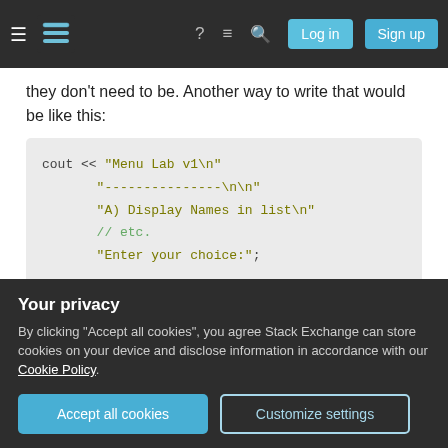Stack Exchange navigation bar with hamburger menu, logo, help, chat, search icons, Log in and Sign up buttons
they don't need to be. Another way to write that would be like this:
[Figure (screenshot): Code block showing: cout << "Menu Lab v1\n" "---------------\n\n" "A) Display Names in list\n" // etc. "Enter your choice:";]
This reduces the entire menu to a single call to operator<< because consecutive strings in C++ (and in C, for that matter) are automatically
Your privacy
By clicking "Accept all cookies", you agree Stack Exchange can store cookies on your device and disclose information in accordance with our Cookie Policy.
Accept all cookies   Customize settings
suggestion), but worse than that, it's done in two